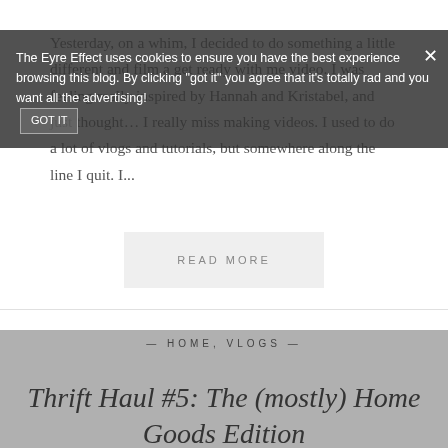Yesterday, on a whim, I decided to do something a little different and film a get ready with me video. I was feeling really inspired by Hannah and Kristabel, and just thought… I really miss making videos. I used to do a lot of vlogs and tutorials, but somewhere along the line I quit. I...
READ MORE
— HOME, VLOGS —
The Eyre Effect uses cookies to ensure you have the best experience browsing this blog. By clicking "got it" you agree that it's totally rad and you want all the advertising!
Thrift Haul #5: The (mostly) Home Goods Edition